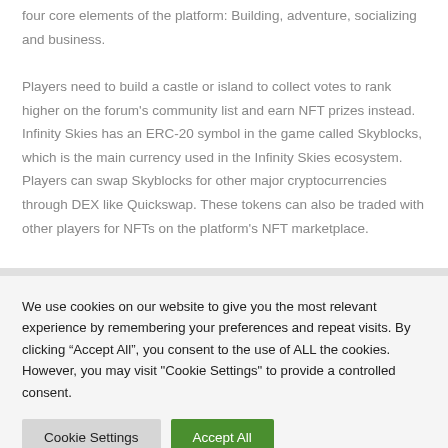four core elements of the platform: Building, adventure, socializing and business.

Players need to build a castle or island to collect votes to rank higher on the forum’s community list and earn NFT prizes instead. Infinity Skies has an ERC-20 symbol in the game called Skyblocks, which is the main currency used in the Infinity Skies ecosystem. Players can swap Skyblocks for other major cryptocurrencies through DEX like Quickswap. These tokens can also be traded with other players for NFTs on the platform’s NFT marketplace.
We use cookies on our website to give you the most relevant experience by remembering your preferences and repeat visits. By clicking “Accept All”, you consent to the use of ALL the cookies. However, you may visit "Cookie Settings" to provide a controlled consent.